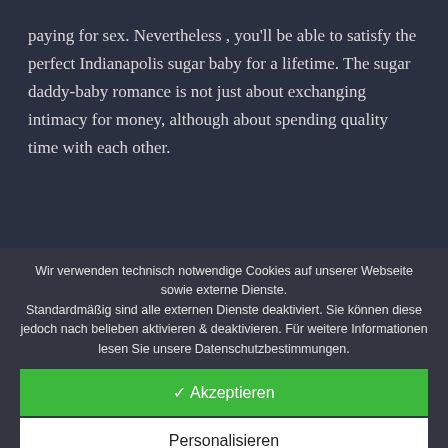paying for sex. Nevertheless , you'll be able to satisfy the perfect Indianapolis sugar baby for a lifetime. The sugar daddy-baby romance is not just about exchanging intimacy for money, although about spending quality time with each other.
Wir verwenden technisch notwendige Cookies auf unserer Webseite sowie externe Dienste. Standardmäßig sind alle externen Dienste deaktiviert. Sie können diese jedoch nach belieben aktivieren & deaktivieren. Für weitere Informationen lesen Sie unsere Datenschutzbestimmungen.
✓ Akzeptieren
Personalisieren